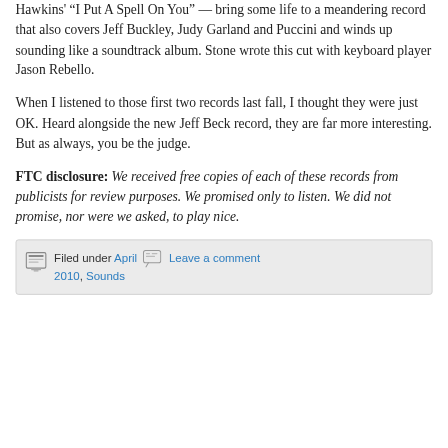Hawkins' "I Put A Spell On You" — bring some life to a meandering record that also covers Jeff Buckley, Judy Garland and Puccini and winds up sounding like a soundtrack album. Stone wrote this cut with keyboard player Jason Rebello.
When I listened to those first two records last fall, I thought they were just OK. Heard alongside the new Jeff Beck record, they are far more interesting. But as always, you be the judge.
FTC disclosure: We received free copies of each of these records from publicists for review purposes. We promised only to listen. We did not promise, nor were we asked, to play nice.
Filed under April  Leave a comment 2010, Sounds